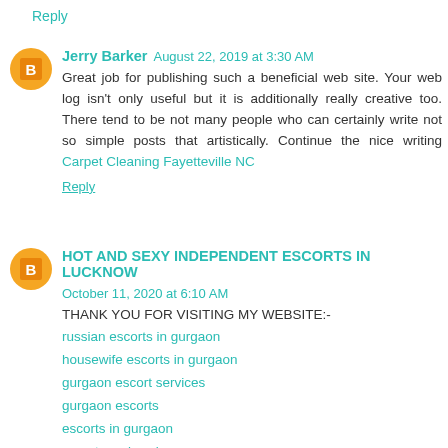Reply
Jerry Barker  August 22, 2019 at 3:30 AM
Great job for publishing such a beneficial web site. Your web log isn't only useful but it is additionally really creative too. There tend to be not many people who can certainly write not so simple posts that artistically. Continue the nice writing Carpet Cleaning Fayetteville NC
Reply
HOT AND SEXY INDEPENDENT ESCORTS IN LUCKNOW  October 11, 2020 at 6:10 AM
THANK YOU FOR VISITING MY WEBSITE:-
russian escorts in gurgaon
housewife escorts in gurgaon
gurgaon escort services
gurgaon escorts
escorts in gurgaon
escort services in gurgaon